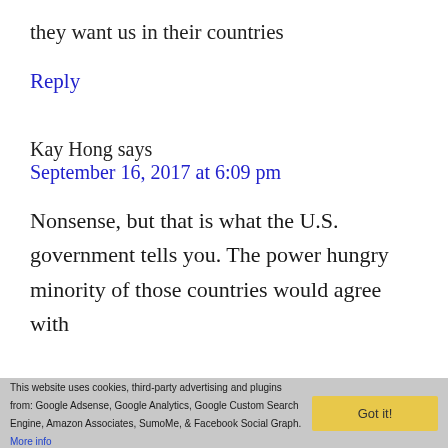they want us in their countries
Reply
Kay Hong says
September 16, 2017 at 6:09 pm
Nonsense, but that is what the U.S. government tells you. The power hungry minority of those countries would agree with US!
This website uses cookies, third-party advertising and plugins from: Google Adsense, Google Analytics, Google Custom Search Engine, Amazon Associates, SumoMe, & Facebook Social Graph. More info   Got it!